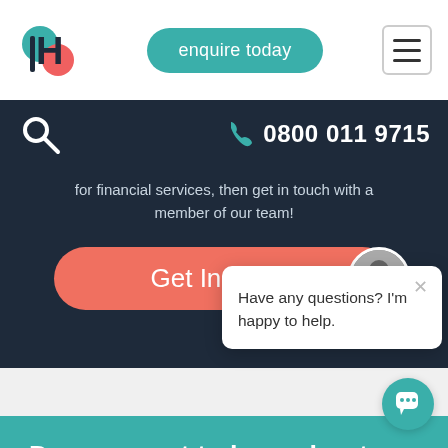[Figure (logo): H logo with teal and pink/red circles]
enquire today
[Figure (other): Hamburger menu icon (three horizontal lines)]
[Figure (other): Search/magnifier icon and phone number: 0800 011 9715]
for financial services, then get in touch with a member of our team!
Get In Touch
Have any questions? I'm happy to help.
Do you want to hear about our